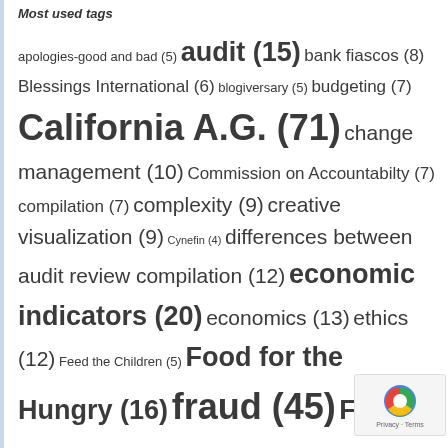Most used tags
apologies-good and bad (5) audit (15) bank fiascos (8) Blessings International (6) blogiversary (5) budgeting (7) California A.G. (71) change management (10) Commission on Accountabilty (7) compilation (7) complexity (9) creative visualization (9) Cynefin (4) differences between audit review compilation (12) economic indicators (20) economics (13) ethics (12) Feed the Children (5) Food for the Hungry (16) fraud (45) FTC (22) functional allocation (59) GIK valuation (176) guest post (12) international aid (13) complicated (13) knowledge and wisdom (4)